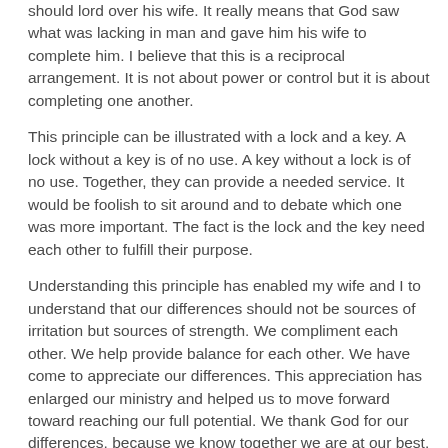should lord over his wife. It really means that God saw what was lacking in man and gave him his wife to complete him. I believe that this is a reciprocal arrangement. It is not about power or control but it is about completing one another.
This principle can be illustrated with a lock and a key. A lock without a key is of no use. A key without a lock is of no use. Together, they can provide a needed service. It would be foolish to sit around and to debate which one was more important. The fact is the lock and the key need each other to fulfill their purpose.
Understanding this principle has enabled my wife and I to understand that our differences should not be sources of irritation but sources of strength. We compliment each other. We help provide balance for each other. We have come to appreciate our differences. This appreciation has enlarged our ministry and helped us to move forward toward reaching our full potential. We thank God for our differences, because we know together we are at our best.
My purpose for this reflection is not to give a close-up look